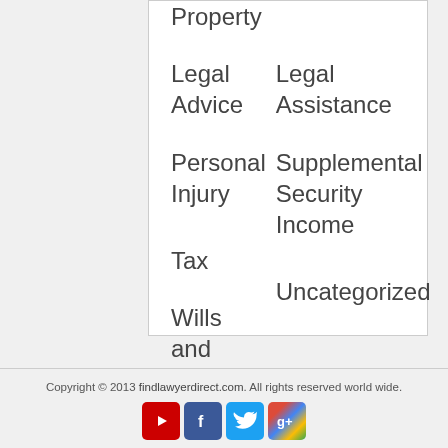Property
Legal Advice
Legal Assistance
Personal Injury
Supplemental Security Income
Tax
Uncategorized
Wills and Probate
Copyright © 2013 findlawyerdirect.com. All rights reserved world wide.